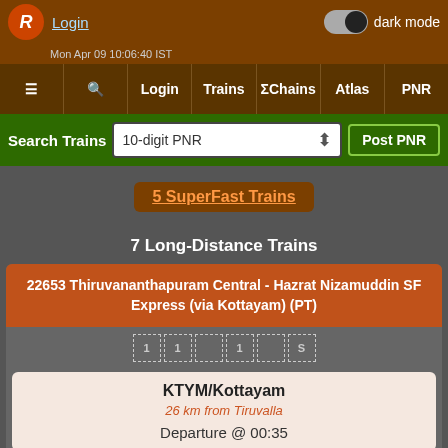Login | dark mode
≡ 🔍 Login | Trains | ΣChains | Atlas | PNR
Search Trains | 10-digit PNR | Post PNR
5 SuperFast Trains
7 Long-Distance Trains
22653 Thiruvananthapuram Central - Hazrat Nizamuddin SF Express (via Kottayam) (PT)
KTYM/Kottayam
26 km from Tiruvalla
Departure @ 00:35
NZM/Hazrat Nizamuddin
3 km from National Handicrafts & Handlooms Museum, New Delhi
Arrival @ 00:40 +1 night